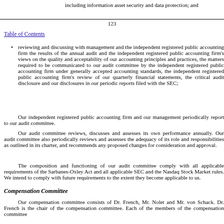including information asset security and data protection; and
123
Table of Contents
reviewing and discussing with management and the independent registered public accounting firm the results of the annual audit and the independent registered public accounting firm's views on the quality and acceptability of our accounting principles and practices, the matters required to be communicated to our audit committee by the independent registered public accounting firm under generally accepted accounting standards, the independent registered public accounting firm's review of our quarterly financial statements, the critical audit disclosure and our disclosures in our periodic reports filed with the SEC;
Our independent registered public accounting firm and our management periodically report to our audit committee.
Our audit committee reviews, discusses and assesses its own performance annually. Our audit committee also periodically reviews and assesses the adequacy of its role and responsibilities as outlined in its charter, and recommends any proposed changes for consideration and approval.
The composition and functioning of our audit committee comply with all applicable requirements of the Sarbanes-Oxley Act and all applicable SEC and the Nasdaq Stock Market rules. We intend to comply with future requirements to the extent they become applicable to us.
Compensation Committee
Our compensation committee consists of Dr. French, Mr. Nolet and Mr. von Schack. Dr. French is the chair of the compensation committee. Each of the members of the compensation committee